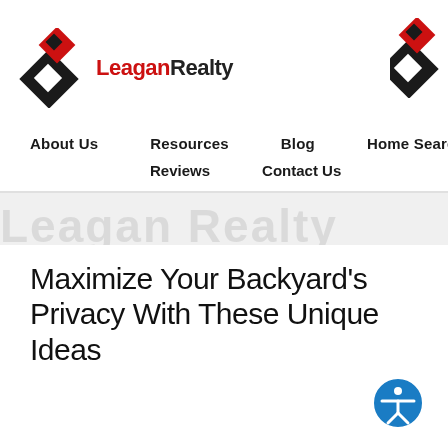[Figure (logo): Leagan Realty logo with red and black diamond shapes and the text Leagan Realty]
About Us   Resources   Blog   Home Search   Reviews   Contact Us
[Figure (other): Watermark background text decorative band]
Maximize Your Backyard's Privacy With These Unique Ideas